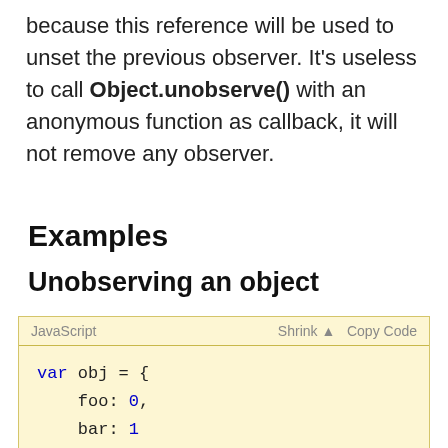because this reference will be used to unset the previous observer. It's useless to call Object.unobserve() with an anonymous function as callback, it will not remove any observer.
Examples
Unobserving an object
[Figure (screenshot): JavaScript code block with light yellow background. Shows: var obj = { foo: 0, bar: 1 }; with syntax highlighting. Toolbar shows 'JavaScript', 'Shrink ▲', 'Copy Code'.]